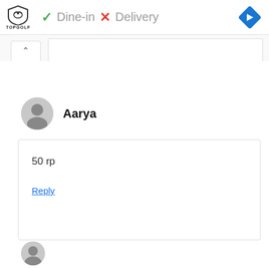[Figure (logo): Topgolf logo with shield icon and text TOPGOLF]
✓ Dine-in  ✕ Delivery
[Figure (illustration): Blue diamond navigation arrow icon]
[Figure (illustration): Cyan play and X ad icons]
^ (collapse tab)
Aarya
50 rp
Reply